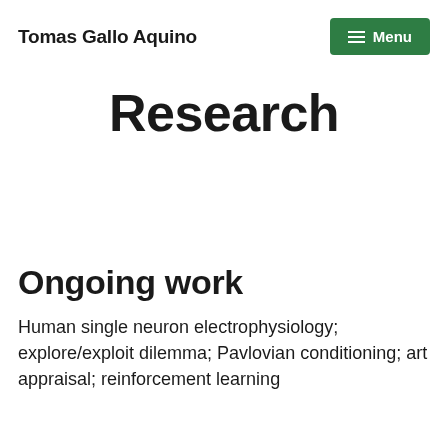Tomas Gallo Aquino
Research
Ongoing work
Human single neuron electrophysiology; explore/exploit dilemma; Pavlovian conditioning; art appraisal; reinforcement learning